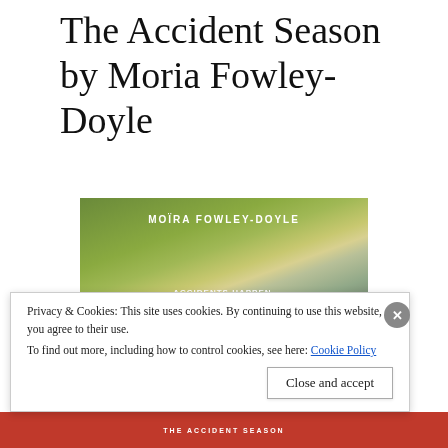The Accident Season by Moria Fowley-Doyle
[Figure (illustration): Book cover of 'The Accident Season' by Moïra Fowley-Doyle. Features a blurred atmospheric background with green and gold tones suggesting trees and nature. Text on cover reads: 'MOÏRA FOWLEY-DOYLE' at top in white, then 'ACCIDENTS HAPPEN. OUR BONES SHATTER, OUR HEARTS BREAK. WE STAY ALIVE.' in white and red text. A red banner strip at the bottom partially visible.]
Privacy & Cookies: This site uses cookies. By continuing to use this website, you agree to their use.
To find out more, including how to control cookies, see here: Cookie Policy
Close and accept